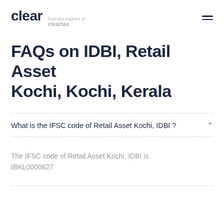clear from the makers of cleartax
FAQs on IDBI, Retail Asset Kochi, Kochi, Kerala
What is the IFSC code of Retail Asset Kochi, IDBI ?
The IFSC code of Retail Asset Kochi, IDBI is IBKL0000827